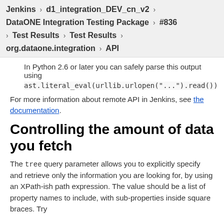Jenkins › d1_integration_DEV_cn_v2 ›
DataONE Integration Testing Package › #836
› Test Results › Test Results ›
org.dataone.integration › API
In Python 2.6 or later you can safely parse this output using
ast.literal_eval(urllib.urlopen("...").read())
For more information about remote API in Jenkins, see the documentation.
Controlling the amount of data you fetch
The tree query parameter allows you to explicitly specify and retrieve only the information you are looking for, by using an XPath-ish path expression. The value should be a list of property names to include, with sub-properties inside square braces. Try